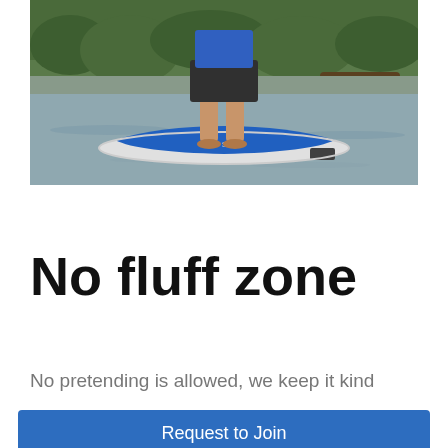[Figure (photo): A person standing barefoot on a blue inflatable stand-up paddleboard on a calm river or lake, wearing dark shorts and a blue shirt. Trees and vegetation visible in the background.]
No fluff zone
No pretending is allowed, we keep it kind
Request to Join